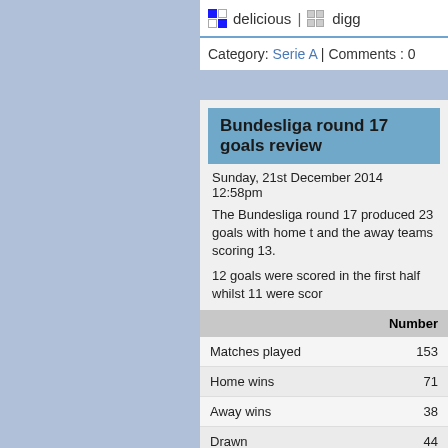delicious | digg
Category: Serie A | Comments : 0
Bundesliga round 17 goals review
Sunday, 21st December 2014 12:58pm
The Bundesliga round 17 produced 23 goals with home t... and the away teams scoring 13.
12 goals were scored in the first half whilst 11 were scor...
Here is the league summary so far this season:
|  | Number |
| --- | --- |
| Matches played | 153 |
| Home wins | 71 |
| Away wins | 38 |
| Drawn | 44 |
| Goalless draws | 15 |
| Goals | 429 |
| Goals/game | 2.8 |
| First half goals | 193 |
| Second half goals | 236 |
| Home team goals | 243 |